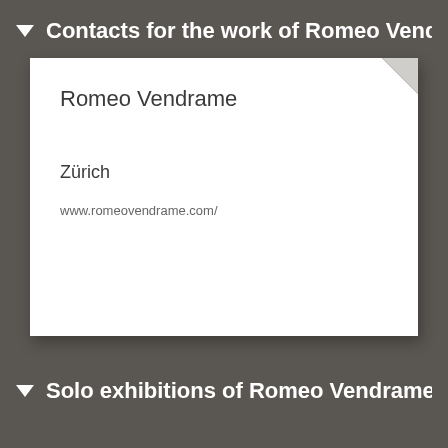Contacts for the work of Romeo Vendr
Romeo Vendrame
Zürich
www.romeovendrame.com/
Solo exhibitions of Romeo Vendrame